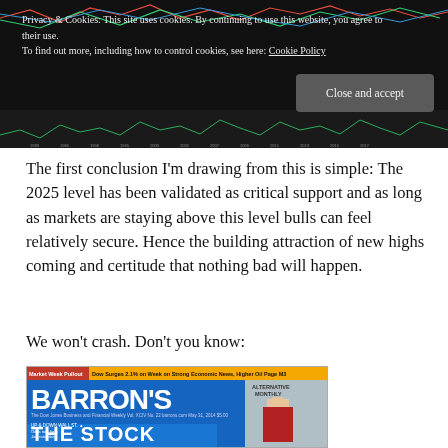[Figure (screenshot): Dark background chart banner showing financial/market chart with cookie consent overlay notice and Close and accept button]
Privacy & Cookies: This site uses cookies. By continuing to use this website, you agree to their use.
To find out more, including how to control cookies, see here: Cookie Policy
The first conclusion I'm drawing from this is simple: The 2025 level has been validated as critical support and as long as markets are staying above this level bulls can feel relatively secure. Hence the building attraction of new highs coming and certitude that nothing bad will happen.
We won't crash. Don't you know:
[Figure (screenshot): Barron's magazine cover showing 'THE STOCK' headline on blue background, with top bar reading 'Dow Surges 2.1% on Week on Strong Economic News, Higher Oil Page M3', Market Week Pullout tag in red, and a man in a suit in the sidebar]